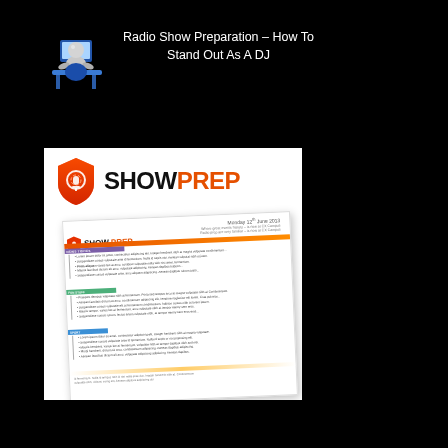[Figure (illustration): 3D figure of a person sitting at a computer desk, rendered in blue/grey colors on black background]
Radio Show Preparation – How To Stand Out As A DJ
[Figure (screenshot): ShowPrep branded document/service image showing the ShowPrep logo (orange shield with microphone icon, black SHOW text and orange PREP text) above a sample radio show preparation document sheet with multiple color-coded sections containing Lorem ipsum style bullet points]